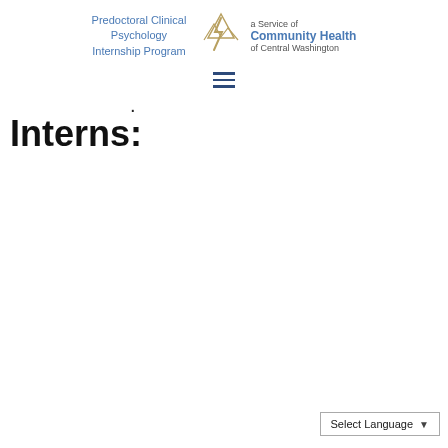[Figure (logo): Predoctoral Clinical Psychology Internship Program logo with Community Health of Central Washington branding and mountain/river SVG icon]
[Figure (other): Hamburger menu icon (three horizontal lines)]
·
Interns:
Select Language ▾